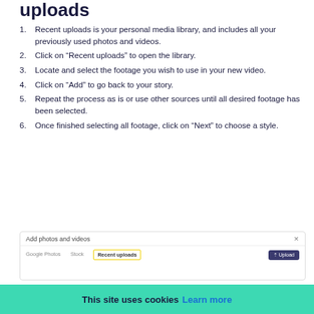uploads
Recent uploads is your personal media library, and includes all your previously used photos and videos.
Click on “Recent uploads” to open the library.
Locate and select the footage you wish to use in your new video.
Click on “Add” to go back to your story.
Repeat the process as is or use other sources until all desired footage has been selected.
Once finished selecting all footage, click on “Next” to choose a style.
[Figure (screenshot): Screenshot of 'Add photos and videos' dialog with tabs: Google Photos, Stock, Recent uploads (highlighted with yellow border), and an Upload button on the right.]
This site uses cookies Learn more